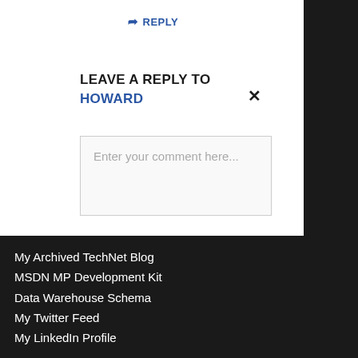➜ REPLY
LEAVE A REPLY TO HOWARD
Enter your comment here...
My Archived TechNet Blog
MSDN MP Development Kit
Data Warehouse Schema
My Twitter Feed
My LinkedIn Profile